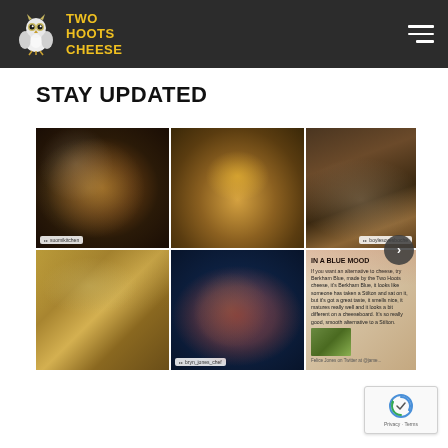Two Hoots Cheese - navigation header with logo and hamburger menu
STAY UPDATED
[Figure (screenshot): Instagram feed grid showing 6 food photos: pizza with toppings, fondue/cheese dip, stuffed mushrooms, Two Hoots Cheese wheel and wedge, carpaccio on blue plate, and a magazine article about cheese. A right-arrow navigation button appears on the right side of the grid.]
[Figure (other): Google reCAPTCHA badge with Privacy and Terms links in bottom right corner]